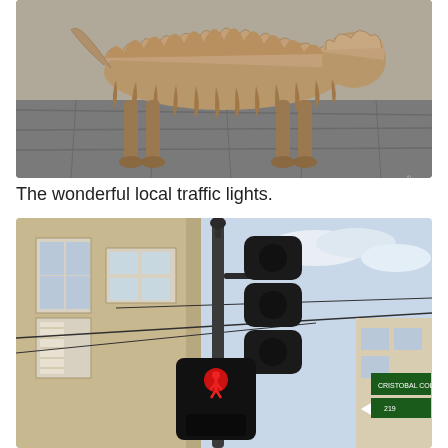[Figure (photo): A shaggy, long-haired dog standing on stone pavement, photographed from behind/side showing its back, tail, and paws. The dog has tan and grey fur. Close-up street-level photo.]
The wonderful local traffic lights.
[Figure (photo): Street-level upward-angle photo of a traffic light pole showing a pedestrian signal with a red walking figure illuminated, and additional traffic signal heads mounted above on the pole. Urban street scene with buildings and street signs visible in the background.]